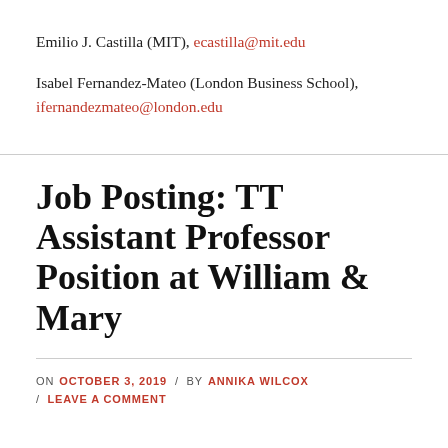Emilio J. Castilla (MIT), ecastilla@mit.edu
Isabel Fernandez-Mateo (London Business School), ifernandezmateo@london.edu
Job Posting: TT Assistant Professor Position at William & Mary
ON OCTOBER 3, 2019 / BY ANNIKA WILCOX / LEAVE A COMMENT